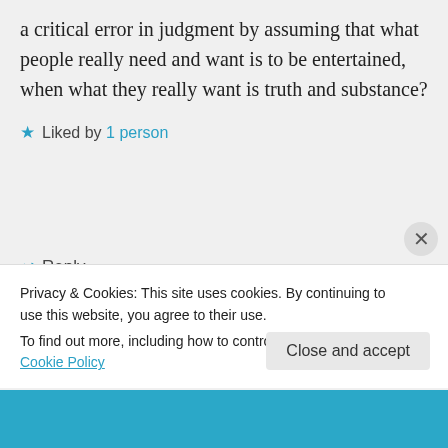a critical error in judgment by assuming that what people really need and want is to be entertained, when what they really want is truth and substance?
Liked by 1 person
Reply
mtsweat on January 21, 2015 at 12:07 pm
Privacy & Cookies: This site uses cookies. By continuing to use this website, you agree to their use.
To find out more, including how to control cookies, see here: Cookie Policy
Close and accept